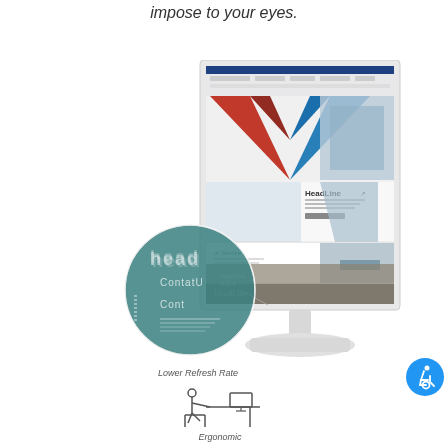impose to your eyes.
[Figure (photo): A white monitor in portrait orientation displaying a website with Microsoft Word open at the top, showing a webpage with headline and service sections, a colorful V-shaped graphic, and a bottom section with HéadLine text and a person walking photo. The monitor stands on a white base/stand.]
[Figure (photo): A circular zoomed-in detail showing blurry/ghosted text reading 'head', 'ContatU', and 'Cont' with a teal/dark green tinted background, connected by a line to the monitor, demonstrating lower refresh rate ghosting effect.]
Lower Refresh Rate
[Figure (illustration): Blue circular accessibility icon with a white wheelchair user symbol]
[Figure (illustration): Simple line drawing icon of a person sitting at a desk with a monitor, representing ergonomic design]
Ergonomic